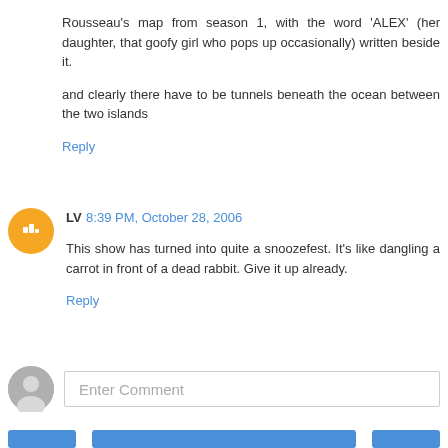Rousseau's map from season 1, with the word 'ALEX' (her daughter, that goofy girl who pops up occasionally) written beside it.
and clearly there have to be tunnels beneath the ocean between the two islands
Reply
LV 8:39 PM, October 28, 2006
This show has turned into quite a snoozefest. It's like dangling a carrot in front of a dead rabbit. Give it up already.
Reply
Enter Comment